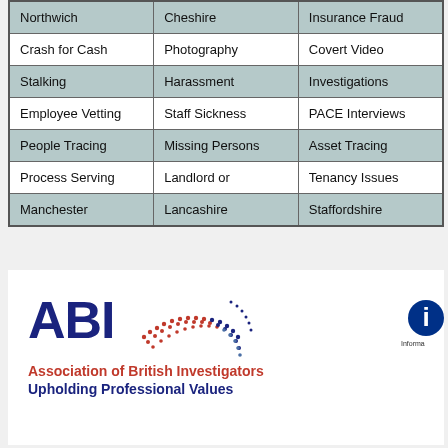| Northwich | Cheshire | Insurance Fraud |
| Crash for Cash | Photography | Covert Video |
| Stalking | Harassment | Investigations |
| Employee Vetting | Staff Sickness | PACE Interviews |
| People Tracing | Missing Persons | Asset Tracing |
| Process Serving | Landlord or | Tenancy Issues |
| Manchester | Lancashire | Staffordshire |
[Figure (logo): ABI - Association of British Investigators, Upholding Professional Values logo with decorative swirl in red and blue dots]